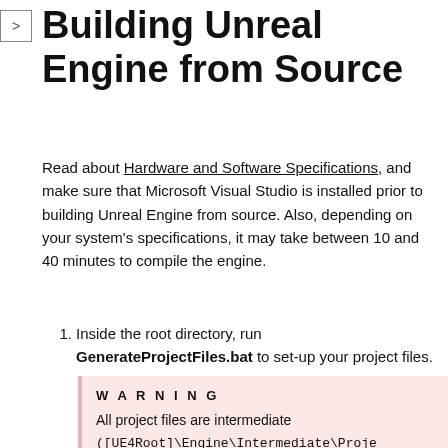Building Unreal Engine from Source
Read about Hardware and Software Specifications, and make sure that Microsoft Visual Studio is installed prior to building Unreal Engine from source. Also, depending on your system's specifications, it may take between 10 and 40 minutes to compile the engine.
Inside the root directory, run GenerateProjectFiles.bat to set-up your project files.
WARNING
All project files are intermediate
([UE4Root]\Engine\Intermediate\Proje
You must generate project files each
time you sync a new build to ensure
they are up to date. If you delete...